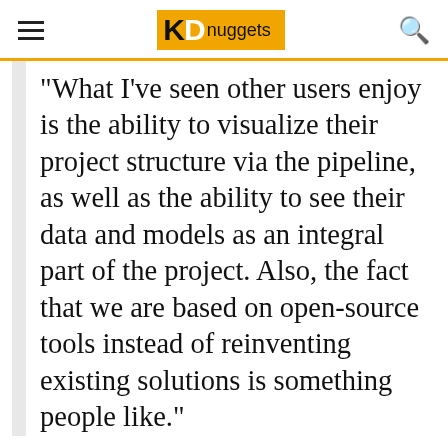KD nuggets
"What I've seen other users enjoy is the ability to visualize their project structure via the pipeline, as well as the ability to see their data and models as an integral part of the project. Also, the fact that we are based on open-source tools instead of reinventing existing solutions is something people like."